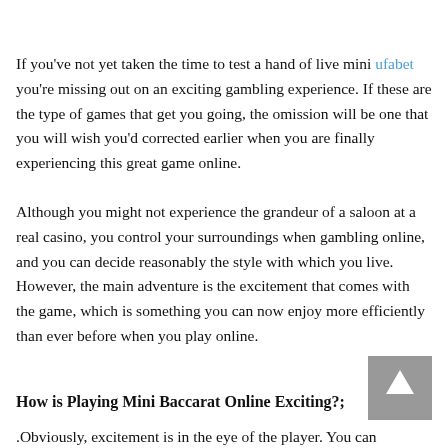If you've not yet taken the time to test a hand of live mini ufabet you're missing out on an exciting gambling experience. If these are the type of games that get you going, the omission will be one that you will wish you'd corrected earlier when you are finally experiencing this great game online.
Although you might not experience the grandeur of a saloon at a real casino, you control your surroundings when gambling online, and you can decide reasonably the style with which you live. However, the main adventure is the excitement that comes with the game, which is something you can now enjoy more efficiently than ever before when you play online.
How is Playing Mini Baccarat Online Exciting?;
.Obviously, excitement is in the eye of the player. You can